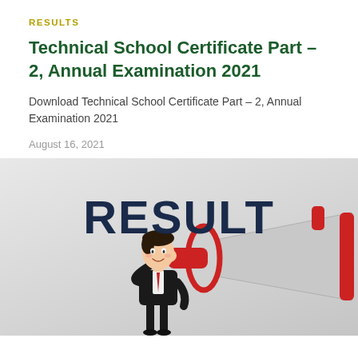RESULTS
Technical School Certificate Part – 2, Annual Examination 2021
Download Technical School Certificate Part – 2, Annual Examination 2021
August 16, 2021
[Figure (illustration): Illustration of a businessman holding a megaphone with the word RESULT displayed prominently above, on a grey gradient background.]